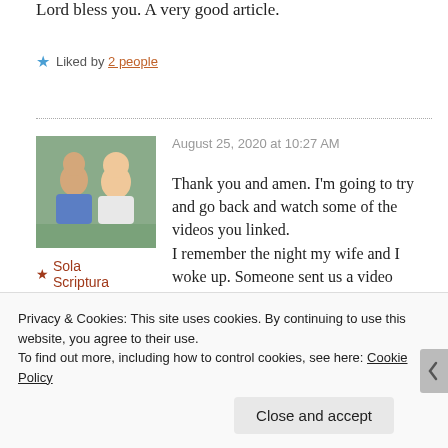Lord bless you. A very good article.
Liked by 2 people
[Figure (photo): Profile photo of a couple, man in blue plaid shirt and woman with blonde hair, outdoors with greenery.]
★ Sola Scriptura
August 25, 2020 at 10:27 AM
Thank you and amen. I'm going to try and go back and watch some of the videos you linked.
I remember the night my wife and I woke up. Someone sent us a video about 7 years ago on 911. We mocked
Privacy & Cookies: This site uses cookies. By continuing to use this website, you agree to their use.
To find out more, including how to control cookies, see here: Cookie Policy
Close and accept